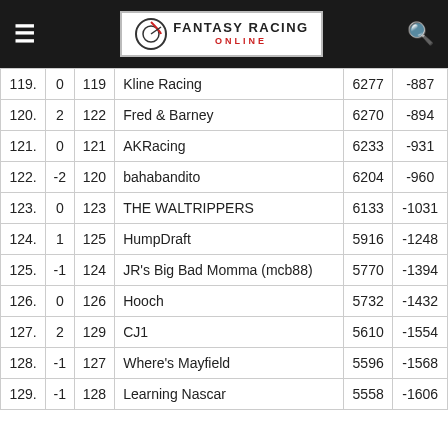Fantasy Racing Online
| Rank | Change | Prev | Team | Points | Diff |
| --- | --- | --- | --- | --- | --- |
| 119. | 0 | 119 | Kline Racing | 6277 | -887 |
| 120. | 2 | 122 | Fred & Barney | 6270 | -894 |
| 121. | 0 | 121 | AKRacing | 6233 | -931 |
| 122. | -2 | 120 | bahabandito | 6204 | -960 |
| 123. | 0 | 123 | THE WALTRIPPERS | 6133 | -1031 |
| 124. | 1 | 125 | HumpDraft | 5916 | -1248 |
| 125. | -1 | 124 | JR's Big Bad Momma (mcb88) | 5770 | -1394 |
| 126. | 0 | 126 | Hooch | 5732 | -1432 |
| 127. | 2 | 129 | CJ1 | 5610 | -1554 |
| 128. | -1 | 127 | Where's Mayfield | 5596 | -1568 |
| 129. | -1 | 128 | Learning Nascar | 5558 | -1606 |